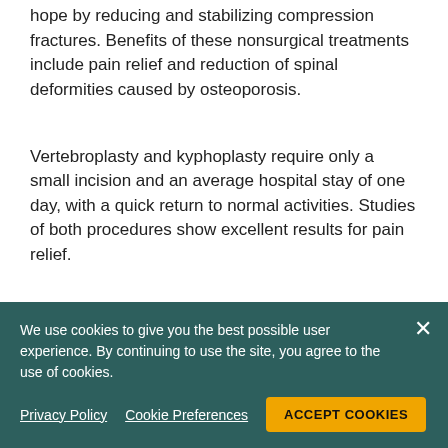hope by reducing and stabilizing compression fractures. Benefits of these nonsurgical treatments include pain relief and reduction of spinal deformities caused by osteoporosis.
Vertebroplasty and kyphoplasty require only a small incision and an average hospital stay of one day, with a quick return to normal activities. Studies of both procedures show excellent results for pain relief.
Related Content
We use cookies to give you the best possible user experience. By continuing to use the site, you agree to the use of cookies.